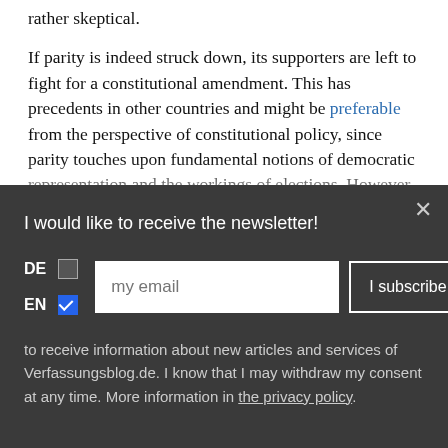rather skeptical. If parity is indeed struck down, its supporters are left to fight for a constitutional amendment. This has precedents in other countries and might be preferable from the perspective of constitutional policy, since parity touches upon fundamental notions of democratic representation and the workings of elections. However,
I would like to receive the newsletter!
DE [ ] EN [x] my email | I subscribe
to receive information about new articles and services of Verfassungsblog.de. I know that I may withdraw my consent at any time. More information in the privacy policy.